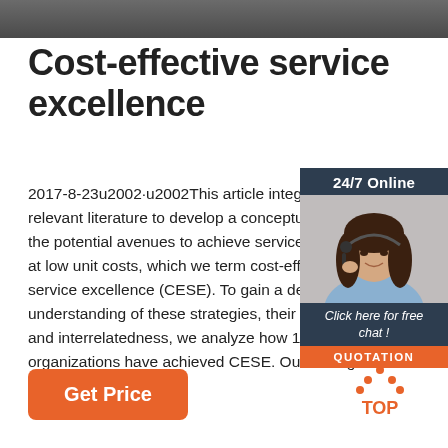[Figure (photo): Dark textured banner at top of page]
Cost-effective service excellence
2017-8-23u2002·u2002This article integrates relevant literature to develop a conceptual model of the potential avenues to achieve service excellence at low unit costs, which we term cost-effective service excellence (CESE). To gain a deeper understanding of these strategies, their interrelatedness, we analyze how 1 organizations have achieved CESE. Our findings show ...
[Figure (photo): 24/7 Online chat widget with photo of woman wearing headset, click here for free chat, QUOTATION button]
[Figure (other): Get Price orange button]
[Figure (other): TOP navigation icon with upward arrow dots]